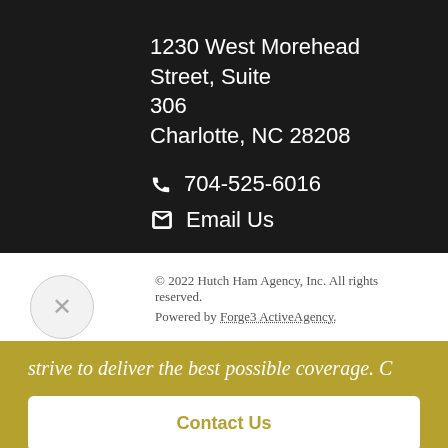1230 West Morehead Street, Suite 306
Charlotte, NC 28208
704-525-6016
Email Us
© 2022 Hutch Ham Agency, Inc. All rights reserved.
Powered by Forge3 ActiveAgency.
strive to deliver the best possible coverage. C
Contact Us
24/7 Client Center